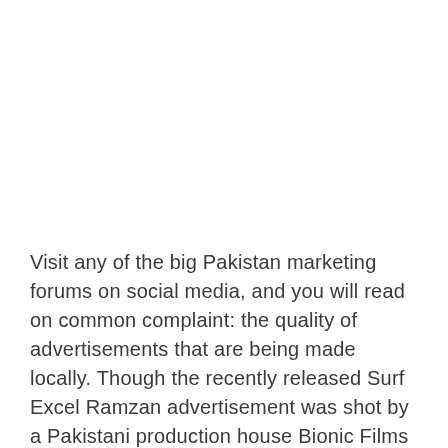Visit any of the big Pakistan marketing forums on social media, and you will read on common complaint: the quality of advertisements that are being made locally. Though the recently released Surf Excel Ramzan advertisement was shot by a Pakistani production house Bionic Films and it has been going viral all over the subcontinent. It has been shot wonderfully and hits all the right notes at this time of global crisis.